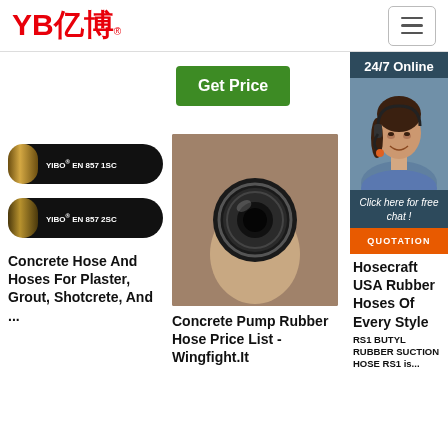[Figure (logo): YB亿博 logo in red with registered trademark symbol]
[Figure (screenshot): Navigation hamburger menu icon button]
[Figure (photo): Green Get Price button]
[Figure (photo): Two black rubber hoses labeled YIBO EN 857 1SC and EN 857 2SC]
[Figure (photo): Hand holding a concrete pump rubber hose, showing the end opening]
[Figure (photo): 24/7 Online chat widget with customer service representative and QUOTATION button]
Concrete Hose And Hoses For Plaster, Grout, Shotcrete, And ...
Concrete Pump Rubber Hose Price List - Wingfight.It
Hosecraft USA Rubber Hoses Of Every Style
RS1 BUTYL RUBBER SUCTION HOSE RS1 is...